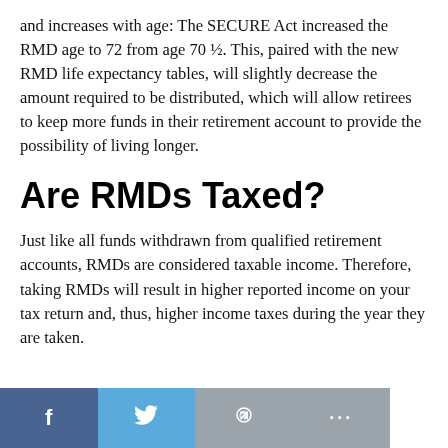and increases with age: The SECURE Act increased the RMD age to 72 from age 70 ½. This, paired with the new RMD life expectancy tables, will slightly decrease the amount required to be distributed, which will allow retirees to keep more funds in their retirement account to provide the possibility of living longer.
Are RMDs Taxed?
Just like all funds withdrawn from qualified retirement accounts, RMDs are considered taxable income. Therefore, taking RMDs will result in higher reported income on your tax return and, thus, higher income taxes during the year they are taken.